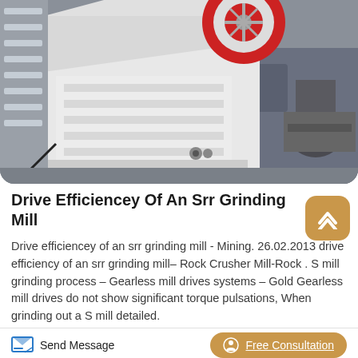[Figure (photo): Industrial grinding mill / jaw crusher machine photographed in a factory setting. Large white metal machine with red flywheel visible at top, multiple components and cables visible, industrial warehouse background.]
Drive Efficiencey Of An Srr Grinding Mill
Drive efficiencey of an srr grinding mill - Mining. 26.02.2013 drive efficiency of an srr grinding mill– Rock Crusher Mill-Rock . S mill grinding process – Gearless mill drives systems – Gold Gearless mill drives do not show significant torque pulsations, When grinding out a S mill detailed.
Send Message
Free Consultation